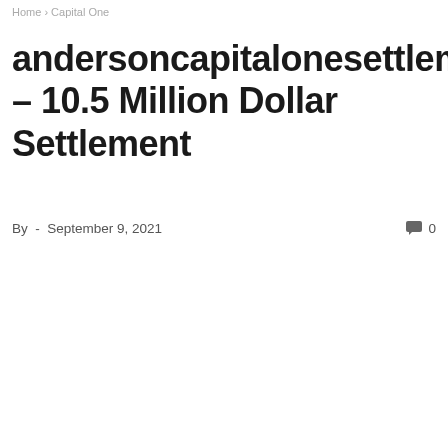Home › Capital One
andersoncapitalonesettlement. – 10.5 Million Dollar Settlement
By - September 9, 2021    0